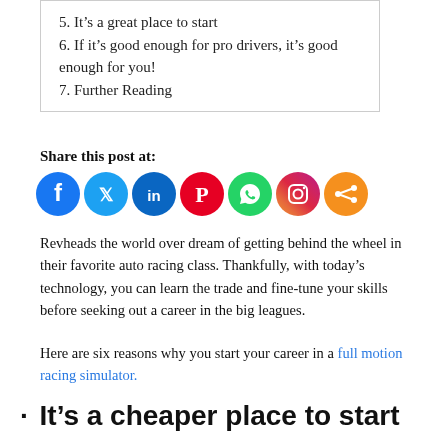5. It's a great place to start
6. If it's good enough for pro drivers, it's good enough for you!
7. Further Reading
Share this post at:
[Figure (infographic): Social media share icons: Facebook (dark blue), Twitter (light blue), LinkedIn (blue), Pinterest (red), WhatsApp (green), Instagram (purple-orange gradient), Share (orange)]
Revheads the world over dream of getting behind the wheel in their favorite auto racing class. Thankfully, with today's technology, you can learn the trade and fine-tune your skills before seeking out a career in the big leagues.
Here are six reasons why you start your career in a full motion racing simulator.
· It's a cheaper place to start